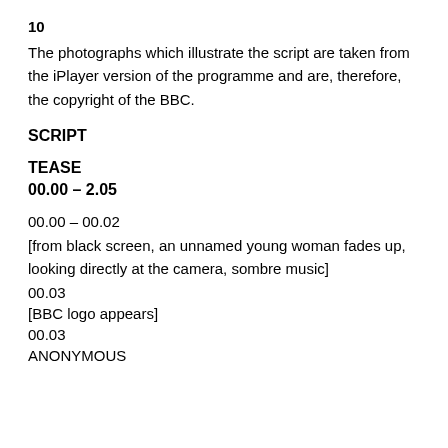10
The photographs which illustrate the script are taken from the iPlayer version of the programme and are, therefore, the copyright of the BBC.
SCRIPT
TEASE
00.00 – 2.05
00.00 – 00.02
[from black screen, an unnamed young woman fades up, looking directly at the camera, sombre music]
00.03
[BBC logo appears]
00.03
ANONYMOUS